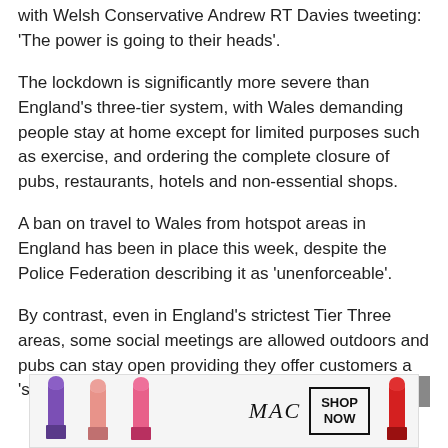with Welsh Conservative Andrew RT Davies tweeting: 'The power is going to their heads'.
The lockdown is significantly more severe than England's three-tier system, with Wales demanding people stay at home except for limited purposes such as exercise, and ordering the complete closure of pubs, restaurants, hotels and non-essential shops.
A ban on travel to Wales from hotspot areas in England has been in place this week, despite the Police Federation describing it as 'unenforceable'.
By contrast, even in England's strictest Tier Three areas, some social meetings are allowed outdoors and pubs can stay open providing they offer customers a 'substantial meal'.
[Figure (photo): MAC cosmetics advertisement banner showing lipsticks in purple, pink and red colors, MAC logo, and a SHOP NOW button]